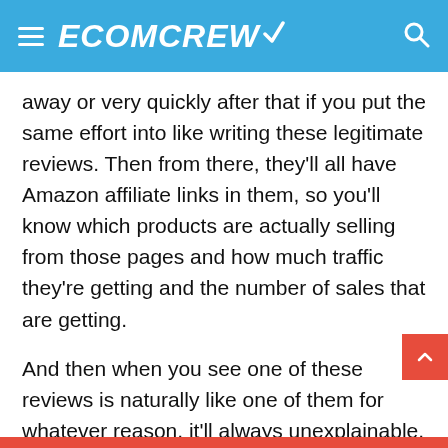ECOMCREW
away or very quickly after that if you put the same effort into like writing these legitimate reviews. Then from there, they'll all have Amazon affiliate links in them, so you'll know which products are actually selling from those pages and how much traffic they're getting and the number of sales that are getting.
And then when you see one of these reviews is naturally like one of them for whatever reason, it'll always unexplainable, but one of them will be the outlier. It'll be the one that like ranks number one